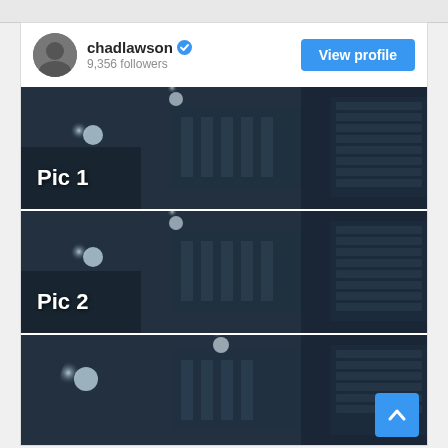chadlawson (verified) · 9,356 followers
[Figure (screenshot): Instagram profile card showing chadlawson with 9,356 followers and a View profile button]
[Figure (photo): Black and white photo of a concert hall or theater interior labeled Pic 1]
[Figure (photo): Black and white photo of a concert hall or theater interior labeled Pic 2]
[Figure (photo): Black and white photo of a concert hall or theater interior, partially visible at bottom]